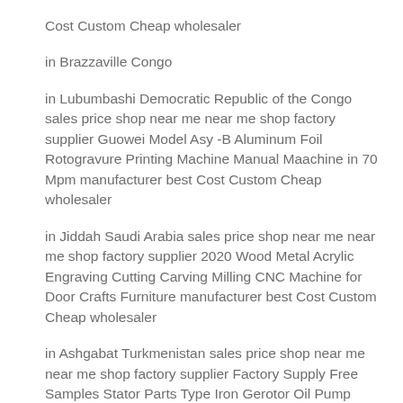Cost Custom Cheap wholesaler
in Brazzaville Congo
in Lubumbashi Democratic Republic of the Congo sales price shop near me near me shop factory supplier Guowei Model Asy -B Aluminum Foil Rotogravure Printing Machine Manual Maachine in 70 Mpm manufacturer best Cost Custom Cheap wholesaler
in Jiddah Saudi Arabia sales price shop near me near me shop factory supplier 2020 Wood Metal Acrylic Engraving Cutting Carving Milling CNC Machine for Door Crafts Furniture manufacturer best Cost Custom Cheap wholesaler
in Ashgabat Turkmenistan sales price shop near me near me shop factory supplier Factory Supply Free Samples Stator Parts Type Iron Gerotor Oil Pump Rotor manufacturer best Cost Custom Cheap wholesaler